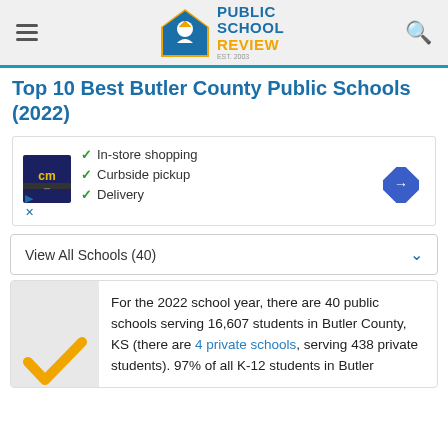Public School Review — EST. 2003
Top 10 Best Butler County Public Schools (2022)
[Figure (infographic): Advertisement box with cm logo, checkmarks for In-store shopping, Curbside pickup, Delivery, and a blue diamond arrow icon]
View All Schools (40)
For the 2022 school year, there are 40 public schools serving 16,607 students in Butler County, KS (there are 4 private schools, serving 438 private students). 97% of all K-12 students in Butler